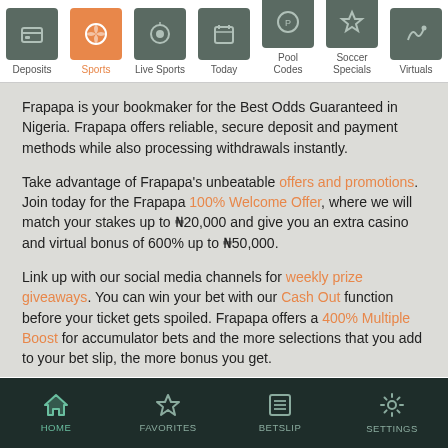Deposits | Sports | Live Sports | Today | Pool Codes | Soccer Specials | Virtuals
Frapapa is your bookmaker for the Best Odds Guaranteed in Nigeria. Frapapa offers reliable, secure deposit and payment methods while also processing withdrawals instantly.
Take advantage of Frapapa's unbeatable offers and promotions. Join today for the Frapapa 100% Welcome Offer, where we will match your stakes up to ₦20,000 and give you an extra casino and virtual bonus of 600% up to ₦50,000.
Link up with our social media channels for weekly prize giveaways. You can win your bet with our Cash Out function before your ticket gets spoiled. Frapapa offers a 400% Multiple Boost for accumulator bets and the more selections that you add to your bet slip, the more bonus you get.
HOME | FAVORITES | BETSLIP | SETTINGS